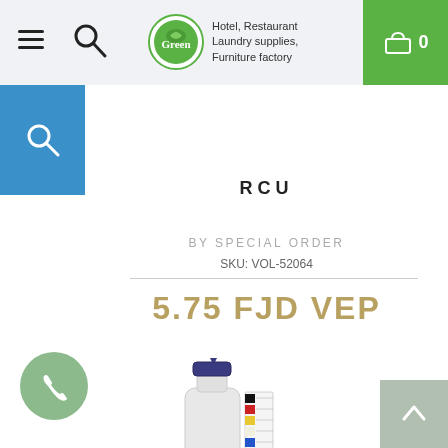Hotel, Restaurant Laundry supplies, Furniture factory
RCU
BY SPECIAL ORDER
SKU: VOL-52064
5.75 FJD VEP
[Figure (photo): A clear plastic squeeze bottle with a dark navy blue cap/nozzle, with a color-coded label strip on the side showing various colors.]